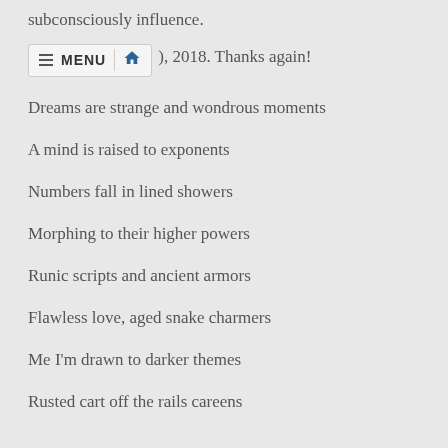subconsciously influence.
), 2018. Thanks again!
Dreams are strange and wondrous moments
A mind is raised to exponents
Numbers fall in lined showers
Morphing to their higher powers
Runic scripts and ancient armors
Flawless love, aged snake charmers
Me I'm drawn to darker themes
Rusted cart off the rails careens